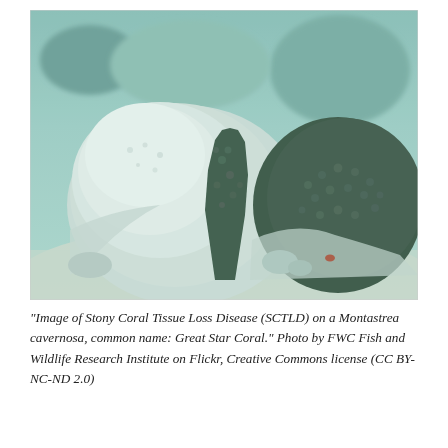[Figure (photo): Underwater photograph showing Stony Coral Tissue Loss Disease (SCTLD) on a Montastrea cavernosa (Great Star Coral). The image shows coral colonies with visible tissue loss — bleached white areas contrasting with healthy dark textured coral. Sandy seafloor and multiple coral formations visible in the background.]
“Image of Stony Coral Tissue Loss Disease (SCTLD) on a Montastrea cavernosa, common name: Great Star Coral.” Photo by FWC Fish and Wildlife Research Institute on Flickr, Creative Commons license (CC BY-NC-ND 2.0)